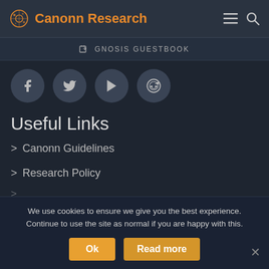Canonn Research
GNOSIS GUESTBOOK
[Figure (other): Social media icons row: Facebook, Twitter, YouTube, Reddit]
Useful Links
> Canonn Guidelines
> Research Policy
We use cookies to ensure we give you the best experience. Continue to use the site as normal if you are happy with this.